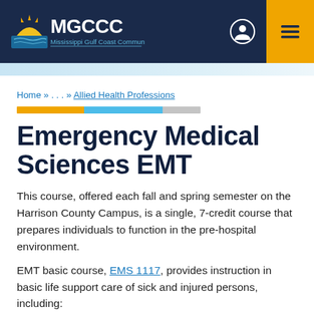MGCCC Mississippi Gulf Coast Community College
Home » . . . » Allied Health Professions
Emergency Medical Sciences EMT
This course, offered each fall and spring semester on the Harrison County Campus, is a single, 7-credit course that prepares individuals to function in the pre-hospital environment.
EMT basic course, EMS 1117, provides instruction in basic life support care of sick and injured persons, including: